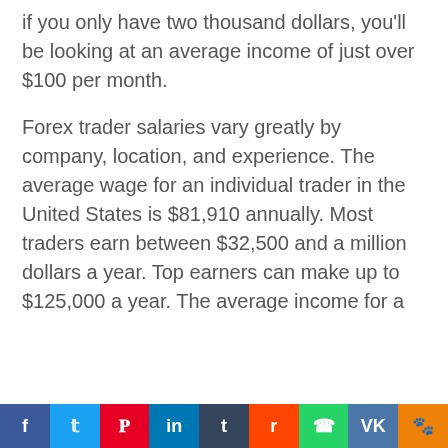if you only have two thousand dollars, you'll be looking at an average income of just over $100 per month.
Forex trader salaries vary greatly by company, location, and experience. The average wage for an individual trader in the United States is $81,910 annually. Most traders earn between $32,500 and a million dollars a year. Top earners can make up to $125,000 a year. The average income for a